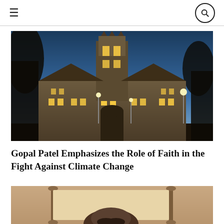≡ [search icon]
[Figure (photo): Gothic university building photographed at dusk with illuminated windows, tall tower rising in center, bare winter trees visible on sides, multiple lamp posts lit in foreground.]
Gopal Patel Emphasizes the Role of Faith in the Fight Against Climate Change
[Figure (photo): Person holding an open decorative scroll/parchment in front of a beige background, partially visible from shoulders up.]